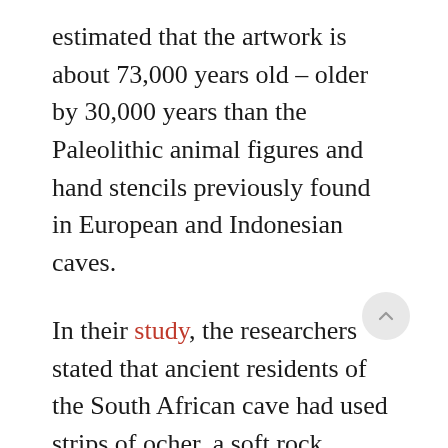estimated that the artwork is about 73,000 years old – older by 30,000 years than the Paleolithic animal figures and hand stencils previously found in European and Indonesian caves.
In their study, the researchers stated that ancient residents of the South African cave had used strips of ocher, a soft rock containing natural pigment, to draw the lines, which are believed to be part of a